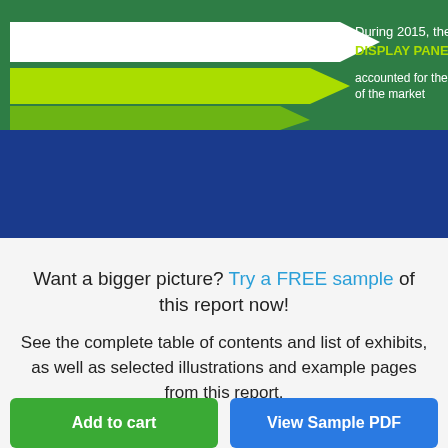[Figure (infographic): Infographic banner with green top section showing arrow graphics and text 'During 2015, the DISPLAY PANEL SEGMENT accounted for the majority share of the market', and blue bottom section with 'READ THE REPORT:' badge, a white card reading 'GLOBAL OLED MARKET 2016-2020', and partially cropped right panel with '10,0' and 'HARDWAR', 'Read them', 'www.tech']
Want a bigger picture? Try a FREE sample of this report now!
See the complete table of contents and list of exhibits, as well as selected illustrations and example pages from this report.
Add to cart
View Sample PDF